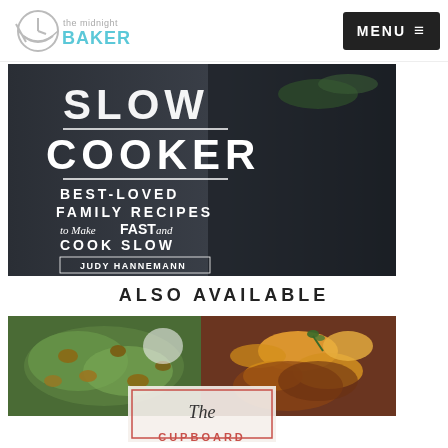The Midnight Baker — MENU
[Figure (photo): Slow Cooker cookbook cover: dark background with text reading SLOW COOKER, BEST-LOVED FAMILY RECIPES to Make FAST and COOK SLOW, by JUDY HANNEMANN]
ALSO AVAILABLE
[Figure (photo): Two food photos side by side: left shows green pasta with nuts, right shows glazed vegetables with herbs. Below is a cookbook cover overlay reading 'The CUPBOARD TO TABLE']